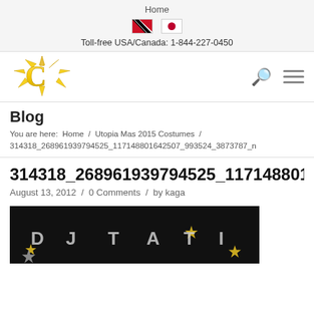Home
Toll-free USA/Canada: 1-844-227-0450
[Figure (logo): Sun/C logo in gold/yellow]
Blog
You are here:  Home  /  Utopia Mas 2015 Costumes  /  314318_268961939794525_117148801642507_993524_3873787_n
314318_268961939794525_117148801…
August 13, 2012  /  0 Comments  /  by kaga
[Figure (photo): Dark background with letters D J T A T I and gold/silver stars, appearing to be a costume or banner detail]